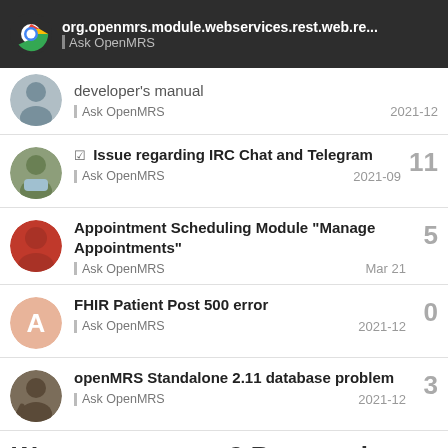org.openmrs.module.webservices.rest.web.re... | Ask OpenMRS
developer's manual | Ask OpenMRS | 2021-12
Issue regarding IRC Chat and Telegram | Ask OpenMRS | 2021-09 | 11
Appointment Scheduling Module "Manage Appointments" | Ask OpenMRS | Mar 21 | 5
FHIR Patient Post 500 error | Ask OpenMRS | 2021-12 | 0
openMRS Standalone 2.11 database problem | Ask OpenMRS | 2021-12 | 3
Want to see more? Browse the topics in...